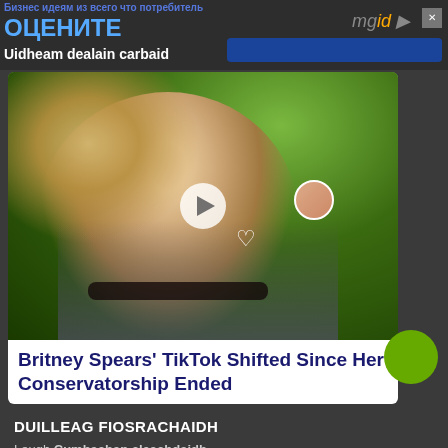ОЦЕНИТЕ | Uidheam dealain carbaid | mgid
[Figure (screenshot): Photo of Britney Spears with play button overlay, heart icon, and small circular avatar]
Britney Spears' TikTok Shifted Since Her Conservatorship Ended
DUILLEAG FIOSRACHAIDH
Leugh Cumhachan cleachdaidh
Leugh Aonta prìobhaideachd
ùghdaran Den phròiseact